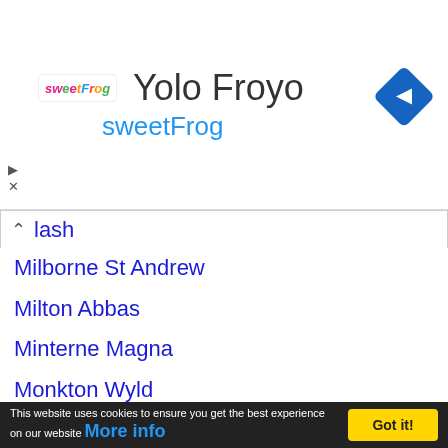[Figure (screenshot): Advertisement banner for Yolo Froyo at sweetFrog with logo, title text, and navigation arrow icon]
lash
Milborne St Andrew
Milton Abbas
Minterne Magna
Monkton Wyld
Moor Crichel
Morden
Moreton
Mosterton
This website uses cookies to ensure you get the best experience on our website More info Got it!